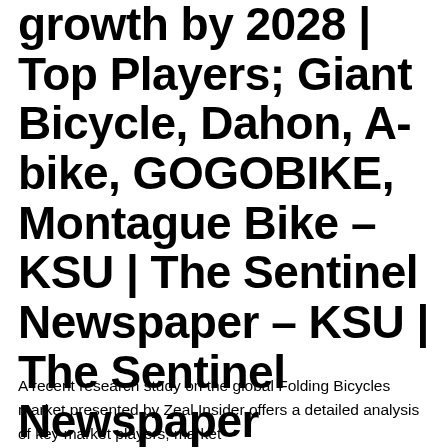growth by 2028 | Top Players; Giant Bicycle, Dahon, A-bike, GOGOBIKE, Montague Bike – KSU | The Sentinel Newspaper – KSU | The Sentinel Newspaper
A recent research study on the global Folding Bicycles market presented by Zeal Insider offers a detailed analysis of key market players, market